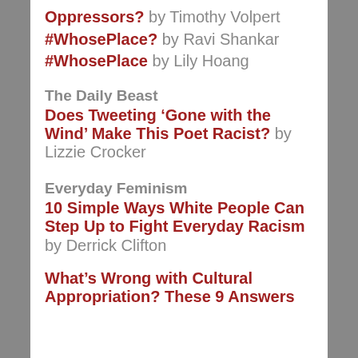Oppressors? by Timothy Volpert
#WhosePlace? by Ravi Shankar
#WhosePlace by Lily Hoang
The Daily Beast
Does Tweeting ‘Gone with the Wind’ Make This Poet Racist? by Lizzie Crocker
Everyday Feminism
10 Simple Ways White People Can Step Up to Fight Everyday Racism by Derrick Clifton
What’s Wrong with Cultural Appropriation? These 9 Answers